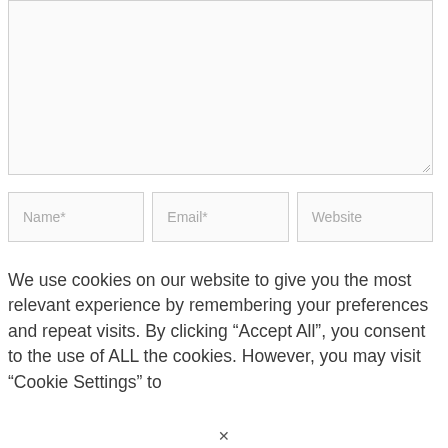[Figure (screenshot): A large empty textarea input box with a resize handle in the bottom-right corner, a light gray border on a light background.]
[Figure (screenshot): Three inline form input fields labeled Name*, Email*, and Website, each with a light gray border and placeholder text.]
We use cookies on our website to give you the most relevant experience by remembering your preferences and repeat visits. By clicking “Accept All”, you consent to the use of ALL the cookies. However, you may visit "Cookie Settings" to